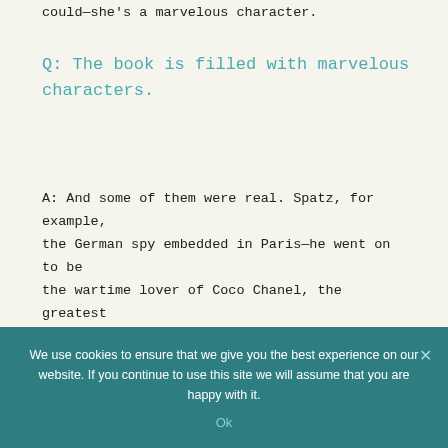could—she's a marvelous character.
Q: The book is filled with marvelous characters.
A: And some of them were real. Spatz, for example, the German spy embedded in Paris—he went on to be the wartime lover of Coco Chanel, the greatest French designer of the twentieth century. She was exiled for collaboration as a result, and had to leave France for nearly a decade.
Q: One of the pivotal subplots of The Alibi Club revolves around the New York law firm
We use cookies to ensure that we give you the best experience on our website. If you continue to use this site we will assume that you are happy with it.